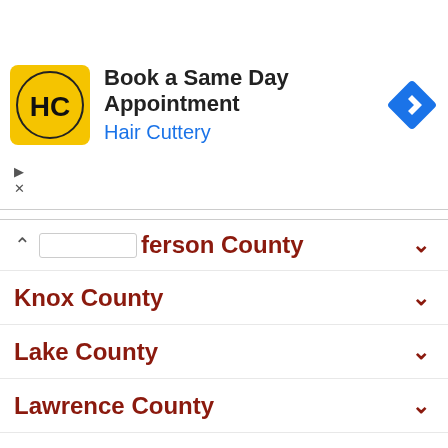[Figure (screenshot): Hair Cuttery advertisement banner: logo with HC in a circle on yellow background, text 'Book a Same Day Appointment' and 'Hair Cuttery' in blue, with a blue diamond navigation icon on the right.]
Jefferson County
Knox County
Lake County
Lawrence County
Licking County
Logan County
Lorain County
Lucas County
Madison County
Mahoning County